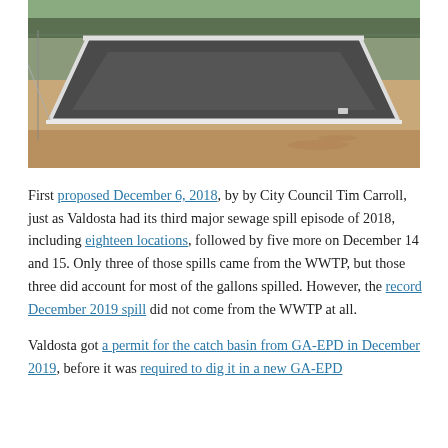[Figure (photo): Aerial view of a large rectangular catch basin or lined retention pond at a wastewater treatment site, surrounded by dirt and sparse trees in the background.]
First proposed December 6, 2018, by by City Council Tim Carroll, just as Valdosta had its third major sewage spill episode of 2018, including eighteen locations, followed by five more on December 14 and 15. Only three of those spills came from the WWTP, but those three did account for most of the gallons spilled. However, the record December 2019 spill did not come from the WWTP at all.
Valdosta got a permit for the catch basin from GA-EPD in December 2019, before it was required to dig it in a new GA-EPD